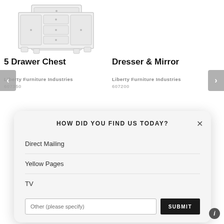[Figure (illustration): 5 Drawer Chest furniture product image, white/light colored chest of drawers]
5 Drawer Chest
Liberty Furniture Industries
607350
[Figure (illustration): Dresser & Mirror furniture product image, white/light colored dresser with mirror]
Dresser & Mirror
Liberty Furniture Industries
607200
HOW DID YOU FIND US TODAY?
Direct Mailing
Yellow Pages
TV